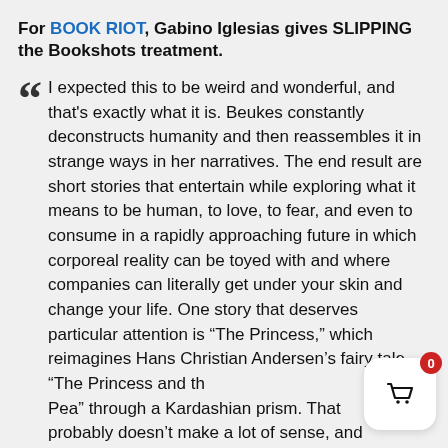For BOOK RIOT, Gabino Iglesias gives SLIPPING the Bookshots treatment.
“ I expected this to be weird and wonderful, and that’s exactly what it is. Beukes constantly deconstructs humanity and then reassembles it in strange ways in her narratives. The end result are short stories that entertain while exploring what it means to be human, to love, to fear, and even to consume in a rapidly approaching future in which corporeal reality can be toyed with and where companies can literally get under your skin and change your life. One story that deserves particular attention is “The Princess,” which reimagines Hans Christian Andersen’s fairy tale “The Princess and the Pea” through a Kardashian prism. That probably doesn’t make a lot of sense, and